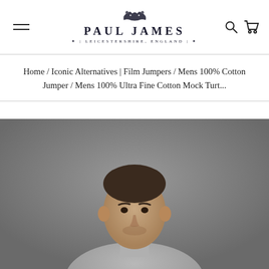PAUL JAMES | LEICESTERSHIRE, ENGLAND — header with menu icon, logo, search and cart icons
Home / Iconic Alternatives | Film Jumpers / Mens 100% Cotton Jumper / Mens 100% Ultra Fine Cotton Mock Turt...
[Figure (photo): Close-up photograph of a male model wearing a grey fine knit cotton mock turtleneck jumper, photographed against a grey background]